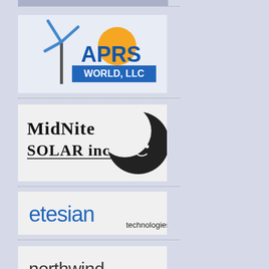[Figure (logo): Partial logo at top, cropped]
[Figure (logo): APRS World, LLC logo with wind turbine and sun graphic]
[Figure (logo): MidNite Solar Inc logo with moon illustration]
[Figure (logo): etesian technologies logo in blue text]
[Figure (logo): northwind RENEWABLE ENERGY logo with purple sun/wind graphic]
About our sponsors
Become a sponsor